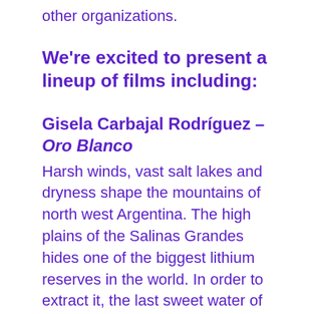other organizations.
We're excited to present a lineup of films including:
Gisela Carbajal Rodríguez – Oro Blanco
Harsh winds, vast salt lakes and dryness shape the mountains of north west Argentina. The high plains of the Salinas Grandes hides one of the biggest lithium reserves in the world. In order to extract it, the last sweet water of the desert is being pumped into vast reserves by international companies. The battery…